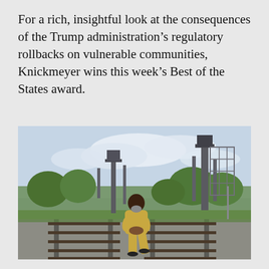For a rich, insightful look at the consequences of the Trump administration's regulatory rollbacks on vulnerable communities, Knickmeyer wins this week's Best of the States award.
[Figure (photo): A man dressed in a yellow outfit standing on railroad tracks with industrial towers and green trees in the background under a cloudy sky.]